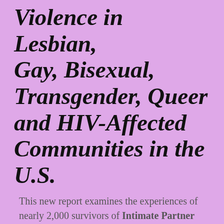Violence in Lesbian, Gay, Bisexual, Transgender, Queer and HIV-Affected Communities in the U.S.
This new report examines the experiences of nearly 2,000 survivors of Intimate Partner Violence and Abuse (IPV/A) in 14 states.  To download this landmark study, visit: